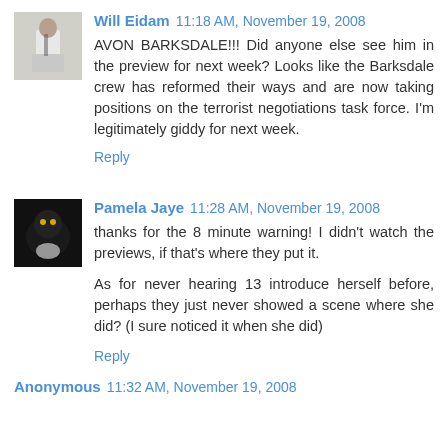[Figure (photo): Small avatar photo of a person in a white shirt]
Will Eidam 11:18 AM, November 19, 2008
AVON BARKSDALE!!! Did anyone else see him in the preview for next week? Looks like the Barksdale crew has reformed their ways and are now taking positions on the terrorist negotiations task force. I'm legitimately giddy for next week.
Reply
[Figure (photo): Small avatar photo of a dark animal or cat]
Pamela Jaye 11:28 AM, November 19, 2008
thanks for the 8 minute warning! I didn't watch the previews, if that's where they put it.
As for never hearing 13 introduce herself before, perhaps they just never showed a scene where she did? (I sure noticed it when she did)
Reply
Anonymous 11:32 AM, November 19, 2008